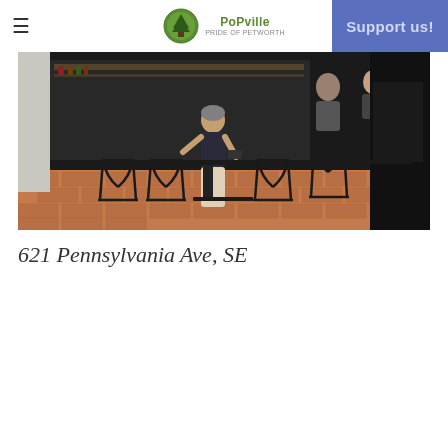PoPville — Pride of Petworth (logo with hamburger menu and Support us! button)
[Figure (photo): Outdoor cafe seating area on a brick sidewalk in front of a restaurant at 621 Pennsylvania Ave SE. Black metal wire chairs and tables. A woman in a sleeveless top sits at a table browsing her phone. Shelves with bottles visible through the window inside.]
621 Pennsylvania Ave, SE